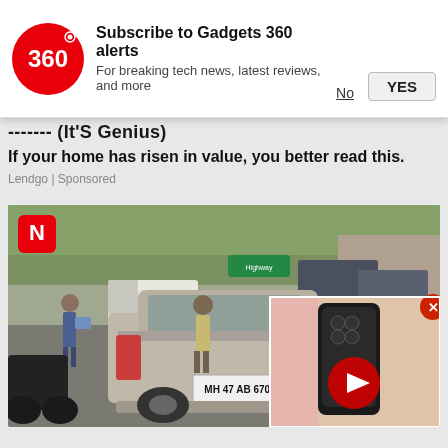[Figure (infographic): Gadgets 360 subscription notification banner with red circular logo showing '360', bold title 'Subscribe to Gadgets 360 alerts', subtitle 'For breaking tech news, latest reviews, and more', and two buttons: 'No' (underlined) and 'YES' (gray box)]
----------- (Irs Genias)
If your home has risen in value, you better read this.
Lendgo | Sponsored
[Figure (photo): News photo showing a silver Mercedes-Benz SUV with license plate MH 47 AB 6705 stopped on a road, police officer and civilians standing nearby, trucks and trees in background. Red 'N' badge in top-left corner. A video player inset in the bottom-right corner showing a black smartphone (Motorola) against a pink background, with a red play button circle overlay, and a red X close button.]